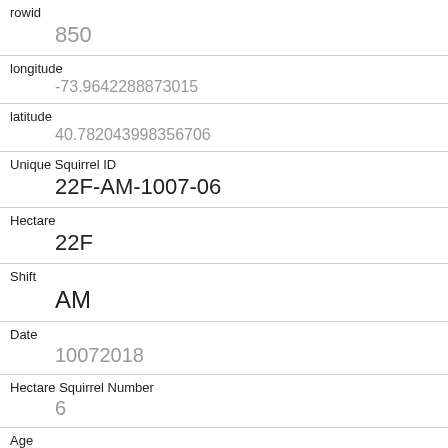| Field | Value |
| --- | --- |
| rowid | 850 |
| longitude | -73.9642288873015 |
| latitude | 40.782043998356706 |
| Unique Squirrel ID | 22F-AM-1007-06 |
| Hectare | 22F |
| Shift | AM |
| Date | 10072018 |
| Hectare Squirrel Number | 6 |
| Age | Adult |
| Primary Fur Color | Cinnamon |